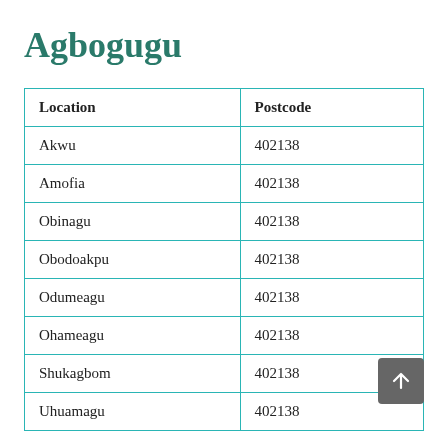Agbogugu
| Location | Postcode |
| --- | --- |
| Akwu | 402138 |
| Amofia | 402138 |
| Obinagu | 402138 |
| Obodoakpu | 402138 |
| Odumeagu | 402138 |
| Ohameagu | 402138 |
| Shukagbom | 402138 |
| Uhuamagu | 402138 |